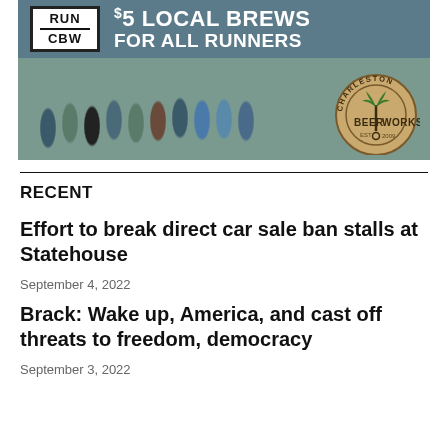[Figure (photo): Advertisement for Run CBW event featuring group photo of runners outside Charleston Beer Works, with '$5 Local Brews for All Runners' headline and Charleston Beer Works circular logo/badge]
RECENT
Effort to break direct car sale ban stalls at Statehouse
September 4, 2022
Brack: Wake up, America, and cast off threats to freedom, democracy
September 3, 2022